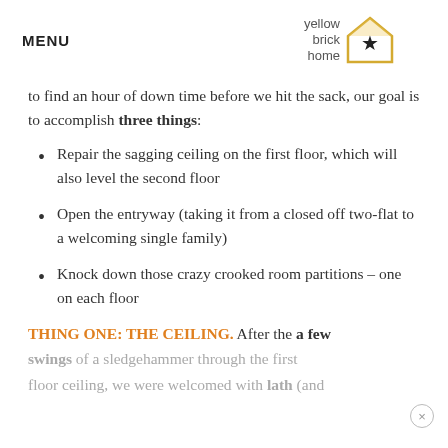MENU | yellow brick home [logo]
to find an hour of down time before we hit the sack, our goal is to accomplish three things:
Repair the sagging ceiling on the first floor, which will also level the second floor
Open the entryway (taking it from a closed off two-flat to a welcoming single family)
Knock down those crazy crooked room partitions – one on each floor
THING ONE: THE CEILING. After the a few swings of a sledgehammer through the first floor ceiling, we were welcomed with lath (and